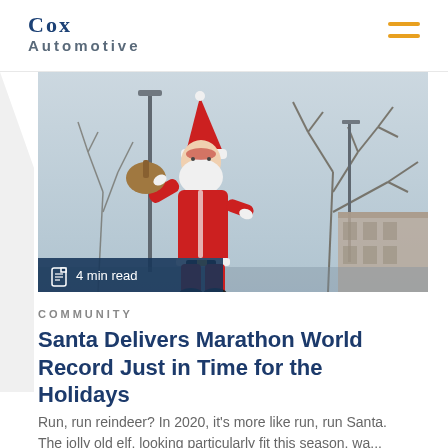Cox Automotive
[Figure (photo): Person dressed as Santa Claus in full red suit and white beard, carrying a sack over shoulder, posing outdoors with bare winter trees and a building in the background. Bottom-left overlay shows a document icon and '4 min read' text on dark navy background.]
COMMUNITY
Santa Delivers Marathon World Record Just in Time for the Holidays
Run, run reindeer? In 2020, it's more like run, run Santa. The jolly old elf, looking particularly fit this season, wa...